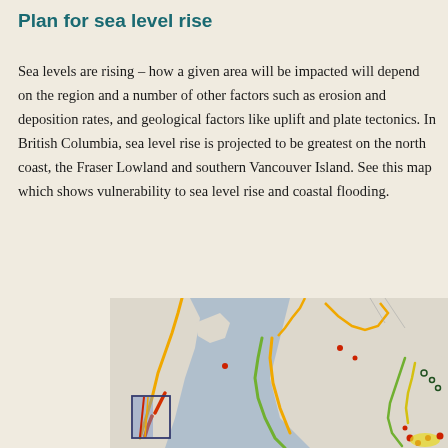Plan for sea level rise
Sea levels are rising – how a given area will be impacted will depend on the region and a number of other factors such as erosion and deposition rates, and geological factors like uplift and plate tectonics. In British Columbia, sea level rise is projected to be greatest on the north coast, the Fraser Lowland and southern Vancouver Island. See this map which shows vulnerability to sea level rise and coastal flooding.
[Figure (map): A coastal vulnerability map showing sea level rise and coastal flooding risk for the British Columbia coast including Vancouver Island and surrounding waters. Colored lines (yellow, orange, red, green) indicate different levels of vulnerability along coastlines. The map shows grey water bodies, light-colored land areas, and a small inset box highlighting a particular coastal area on the left side.]